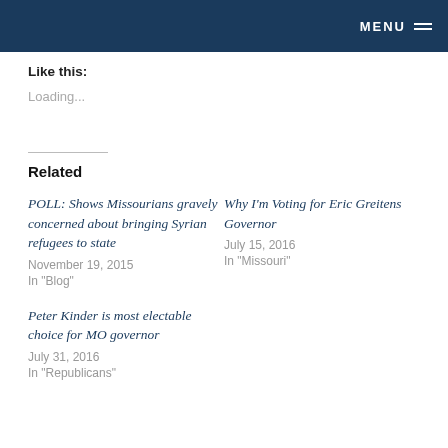MENU
Like this:
Loading...
Related
POLL: Shows Missourians gravely concerned about bringing Syrian refugees to state
November 19, 2015
In "Blog"
Why I'm Voting for Eric Greitens Governor
July 15, 2016
In "Missouri"
Peter Kinder is most electable choice for MO governor
July 31, 2016
In "Republicans"